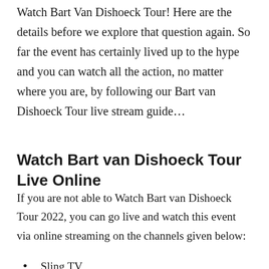Watch Bart Van Dishoeck Tour! Here are the details before we explore that question again. So far the event has certainly lived up to the hype and you can watch all the action, no matter where you are, by following our Bart van Dishoeck Tour live stream guide…
Watch Bart van Dishoeck Tour Live Online
If you are not able to Watch Bart van Dishoeck Tour 2022, you can go live and watch this event via online streaming on the channels given below:
Sling TV